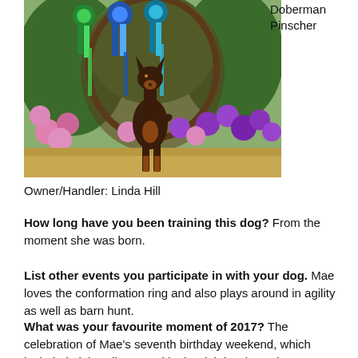[Figure (photo): A Doberman Pinscher dog standing in front of colorful flowers (pink and purple petunias) and show ribbons/rosettes in blue and green colors.]
Doberman Pinscher
Owner/Handler: Linda Hill
How long have you been training this dog? From the moment she was born.
List other events you participate in with your dog. Mae loves the conformation ring and also plays around in agility as well as barn hunt.
What was your favourite moment of 2017? The celebration of Mae's seventh birthday weekend, which included eight rally runs with six High in Class placements and a perfect